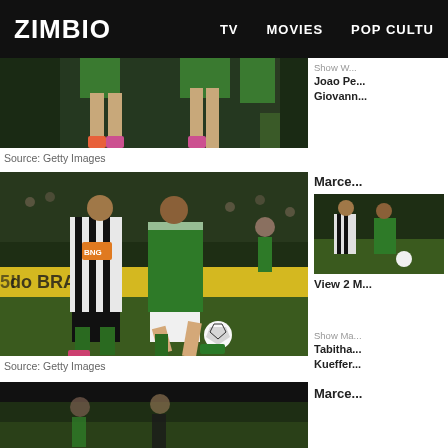ZIMBIO  TV  MOVIES  POP CULTU
[Figure (photo): Partial view of soccer players legs and feet on a grass field, green jerseys visible at top]
Source: Getty Images
Show W... Joao Pe... Giovann...
[Figure (photo): Soccer match action: player in black-and-white striped Atletico Mineiro jersey competing against player in green Palmeiras jersey lunging for the ball, advertising boards in background]
Source: Getty Images
Marce...
[Figure (photo): Thumbnail of soccer match, two players competing]
View 2 M...
Show Ma... Tabitha... Kueffer...
[Figure (photo): Partial view of another soccer match photo at bottom of page, dark tones]
Marce...